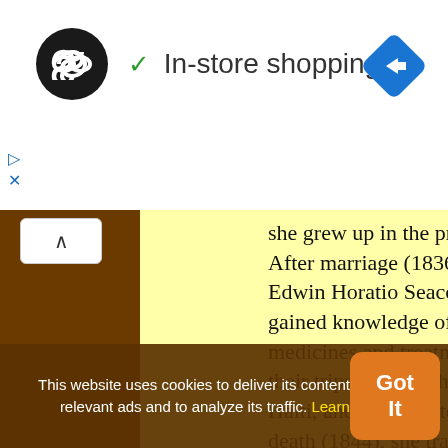[Figure (logo): Circular black logo with infinity/loop symbol in white]
✓ In-store shopping
[Figure (other): Blue diamond-shaped navigation/maps icon with white right-arrow]
she grew up in the practice. After marriage (1836) to Edwin Horatio Seacole, she gained knowledge of local medicines and treatments on their trips to the Bahamas, Haiti, and Cuba. After his death (1844), she traveled to nurse cholera victims in Panama. returned to Jamaica to care for yellow fever
This website uses cookies to deliver its content, to show relevant ads and to analyze its traffic. Learn More
Got It